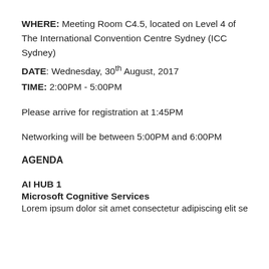WHERE: Meeting Room C4.5, located on Level 4 of The International Convention Centre Sydney (ICC Sydney)
DATE: Wednesday, 30th August, 2017
TIME: 2:00PM - 5:00PM
Please arrive for registration at 1:45PM
Networking will be between 5:00PM and 6:00PM
AGENDA
AI HUB 1
Microsoft Cognitive Services